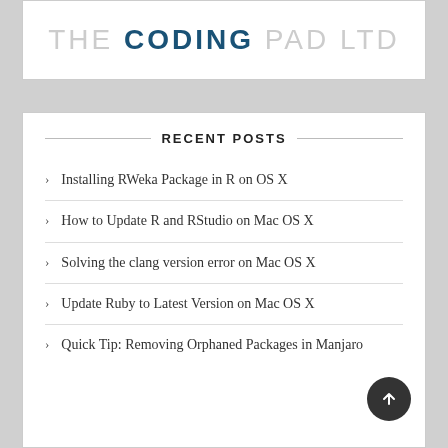THE CODING PAD LTD
RECENT POSTS
Installing RWeka Package in R on OS X
How to Update R and RStudio on Mac OS X
Solving the clang version error on Mac OS X
Update Ruby to Latest Version on Mac OS X
Quick Tip: Removing Orphaned Packages in Manjaro